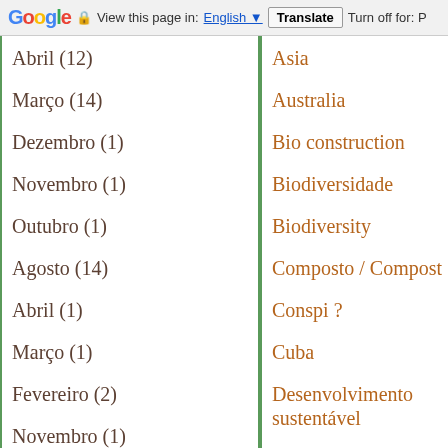Google  View this page in: English  Translate  Turn off for: P
Abril (12)
Março (14)
Dezembro (1)
Novembro (1)
Outubro (1)
Agosto (14)
Abril (1)
Março (1)
Fevereiro (2)
Novembro (1)
Outubro (4)
Asia
Australia
Bio construction
Biodiversidade
Biodiversity
Composto / Compost
Conspi ?
Cuba
Desenvolvimento sustentável
Ernst Gotsch
Finance
Forests